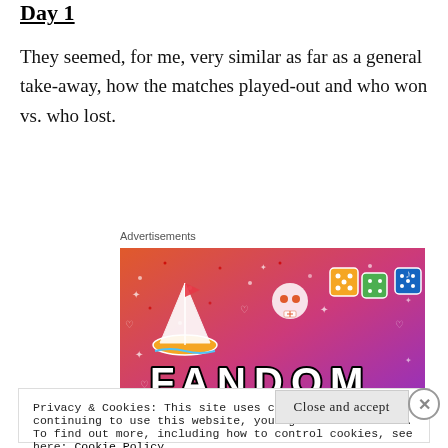Day 1
They seemed, for me, very similar as far as a general take-away, how the matches played-out and who won vs. who lost.
Advertisements
[Figure (illustration): Fandom advertisement banner with colorful gradient background (pink/orange to purple) featuring illustrated icons (sailboat, skull, dice, gems) and large text reading FANDOM]
Privacy & Cookies: This site uses cookies. By continuing to use this website, you agree to their use.
To find out more, including how to control cookies, see here: Cookie Policy
Close and accept